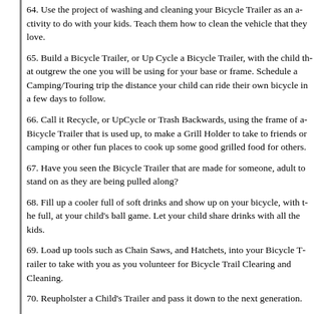64. Use the project of washing and cleaning your Bicycle Trailer as an activity to do with your kids. Teach them how to clean the vehicle that they love.
65. Build a Bicycle Trailer, or Up Cycle a Bicycle Trailer, with the child that outgrew the one you will be using for your base or frame. Schedule a Camping/Touring trip the distance your child can ride their own bicycle in a few days to follow.
66. Call it Recycle, or UpCycle or Trash Backwards, using the frame of a Bicycle Trailer that is used up, to make a Grill Holder to take to friends or camping or other fun places to cook up some good grilled food for others.
67. Have you seen the Bicycle Trailer that are made for someone, adult to stand on as they are being pulled along?
68. Fill up a cooler full of soft drinks and show up on your bicycle, with the full, at your child's ball game. Let your child share drinks with all the kids.
69. Load up tools such as Chain Saws, and Hatchets, into your Bicycle Trailer to take with you as you volunteer for Bicycle Trail Clearing and Cleaning.
70. Reupholster a Child's Trailer and pass it down to the next generation.
71. Does your dog love to ride in your Bicycle Trailer? After a bath, does your dog have a place to go to dry? Let your dog sit, and shake off, inside your Bicycle Trailer it normally rides in. After the dog is out of the Trailer, leave the trailer in the sun to dry.
72. Do your neighbors have new baby Guinea Pigs they are offering for a small fee or FREE to a good home? Put a box in your Bicycle Trailer and go and bring